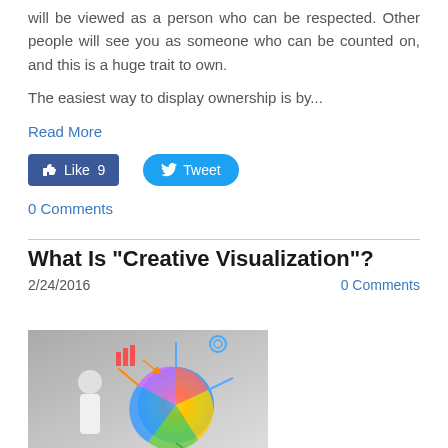will be viewed as a person who can be respected. Other people will see you as someone who can be counted on, and this is a huge trait to own.
The easiest way to display ownership is by...
Read More
[Figure (screenshot): Facebook Like button showing 9 likes and Twitter Tweet button]
0 Comments
What Is "Creative Visualization"?
2/24/2016
0 Comments
[Figure (photo): Person thinking with colorful creative visualization brain graphic showing charts and gears radiating from a light-bulb shaped brain]